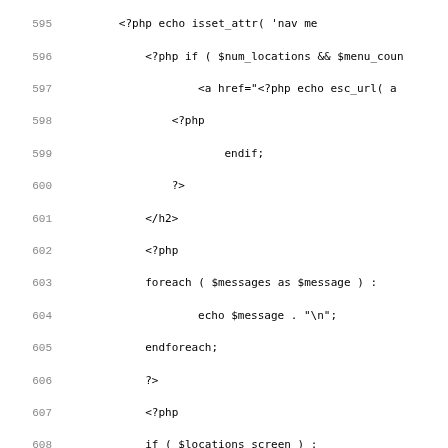[Figure (screenshot): Code listing showing PHP/HTML source code, lines 595-627, with line numbers on the left in gray and monospace code on the right. The code includes PHP control structures, HTML tags, and embedded PHP within HTML.]